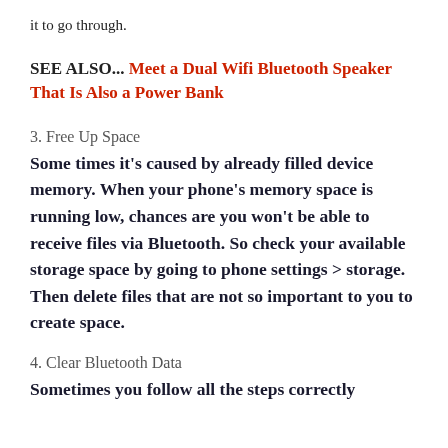it to go through.
SEE ALSO... Meet a Dual Wifi Bluetooth Speaker That Is Also a Power Bank
3. Free Up Space
Some times it's caused by already filled device memory. When your phone's memory space is running low, chances are you won't be able to receive files via Bluetooth. So check your available storage space by going to phone settings > storage. Then delete files that are not so important to you to create space.
4. Clear Bluetooth Data
Sometimes you follow all the steps correctly